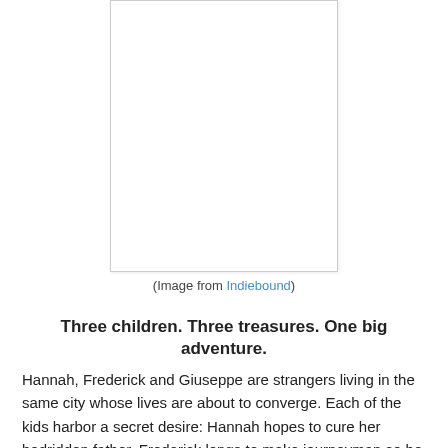[Figure (photo): Book cover image displayed as a white rectangle with border, centered on the page.]
(Image from Indiebound)
Three children. Three treasures. One big adventure.
Hannah, Frederick and Giuseppe are strangers living in the same city whose lives are about to converge. Each of the kids harbor a secret desire: Hannah hopes to cure her bedridden father, Frederick longs to make journeyman so he